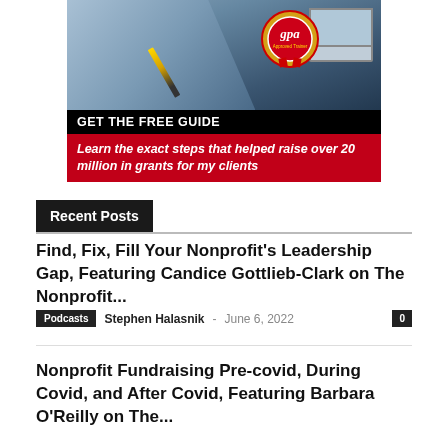[Figure (photo): Advertisement banner showing a person writing on paper near a laptop, with a GPA badge. Black bar reads 'GET THE FREE GUIDE'. Red bar reads 'Learn the exact steps that helped raise over 20 million in grants for my clients']
Recent Posts
Find, Fix, Fill Your Nonprofit's Leadership Gap, Featuring Candice Gottlieb-Clark on The Nonprofit...
Podcasts  Stephen Halasnik - June 6, 2022  0
Nonprofit Fundraising Pre-covid, During Covid, and After Covid, Featuring Barbara O'Reilly on The...